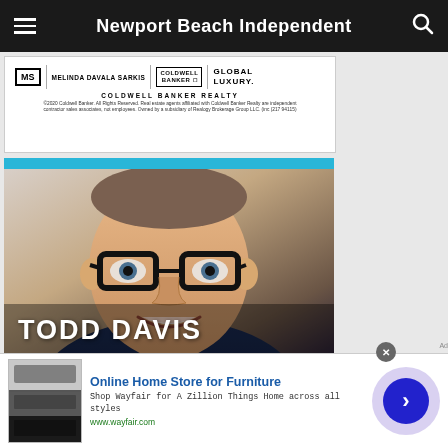Newport Beach Independent
[Figure (advertisement): Coldwell Banker Realty ad featuring Melinda Davala Sarkis with MS logo, Coldwell Banker logo, and Global Luxury branding. Fine print: COLDWELL BANKER REALTY ©2020 Coldwell Banker. All Rights Reserved. Real estate agents affiliated with Coldwell Banker Realty are independent contractor sales associates, not employees. Owned by a subsidiary of Realogy Brokerage Group LLC. (inc (217 94115)]
[Figure (advertisement): Todd Davis Realtor ad showing a man with glasses smiling, with text TODD DAVIS in large white letters and REALTOR below on a blue-gray bar. Blue accent bar at top.]
[Figure (advertisement): Wayfair Online Home Store for Furniture ad. Shows appliance/furniture product image on left. Text: Online Home Store for Furniture, Shop Wayfair for A Zillion Things Home across all styles, www.wayfair.com. Navigation arrow button on right.]